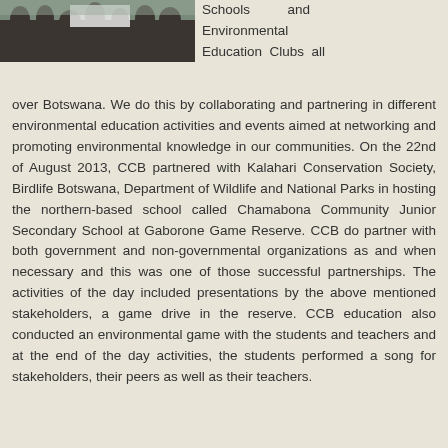[Figure (photo): Partial photo of a group of people, cropped at top of page on the left side]
Schools and Environmental Education Clubs all over Botswana. We do this by collaborating and partnering in different environmental education activities and events aimed at networking and promoting environmental knowledge in our communities. On the 22nd of August 2013, CCB partnered with Kalahari Conservation Society, Birdlife Botswana, Department of Wildlife and National Parks in hosting the northern-based school called Chamabona Community Junior Secondary School at Gaborone Game Reserve. CCB do partner with both government and non-governmental organizations as and when necessary and this was one of those successful partnerships. The activities of the day included presentations by the above mentioned stakeholders, a game drive in the reserve. CCB education also conducted an environmental game with the students and teachers and at the end of the day activities, the students performed a song for stakeholders, their peers as well as their teachers.